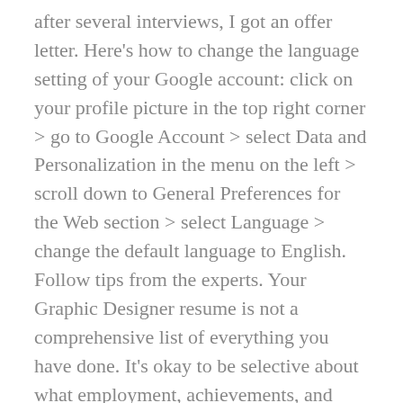after several interviews, I got an offer letter. Here's how to change the language setting of your Google account: click on your profile picture in the top right corner > go to Google Account > select Data and Personalization in the menu on the left > scroll down to General Preferences for the Web section > select Language > change the default language to English. Follow tips from the experts. Your Graphic Designer resume is not a comprehensive list of everything you have done. It's okay to be selective about what employment, achievements, and skills you include; after all, you should tailor your resume for each position. In addition to being easy to read, a well crafted resume is customized according to the open position. High school nameCity and StateDate of graduationCourse Highlights courses directly related to the job or your career field and special abilitiesCertificates. 40, which is cheaper in the